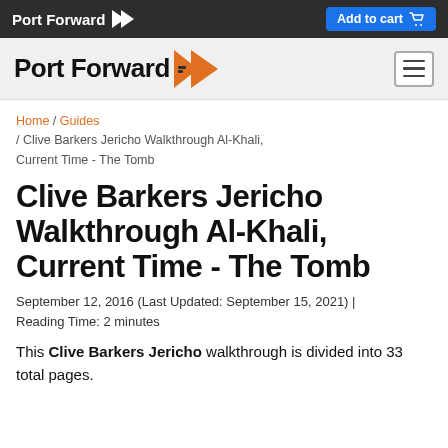Port Forward | Add to cart
Port Forward (navigation bar)
Home / Guides / Clive Barkers Jericho Walkthrough Al-Khali, Current Time - The Tomb
Clive Barkers Jericho Walkthrough Al-Khali, Current Time - The Tomb
September 12, 2016 (Last Updated: September 15, 2021) | Reading Time: 2 minutes
This Clive Barkers Jericho walkthrough is divided into 33 total pages.